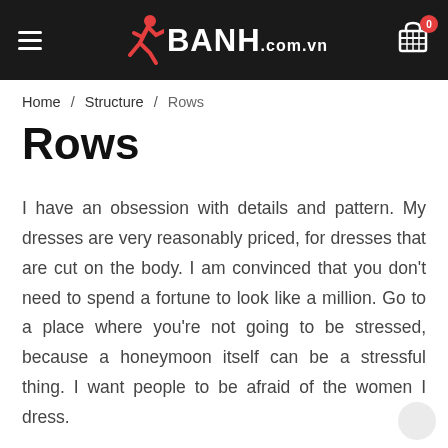BANH.com.vn
Home / Structure / Rows
Rows
I have an obsession with details and pattern. My dresses are very reasonably priced, for dresses that are cut on the body. I am convinced that you don't need to spend a fortune to look like a million. Go to a place where you're not going to be stressed, because a honeymoon itself can be a stressful thing. I want people to be afraid of the women I dress.